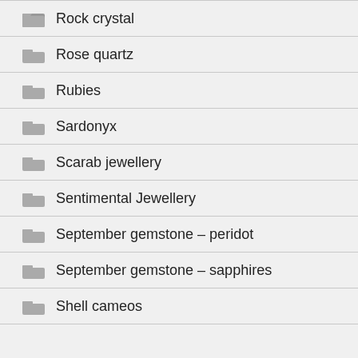Rock crystal
Rose quartz
Rubies
Sardonyx
Scarab jewellery
Sentimental Jewellery
September gemstone – peridot
September gemstone – sapphires
Shell cameos